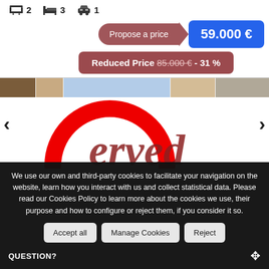🛁 2  🚗 3  🚗 1
Propose a price  59.000 €
Reduced Price 85.000 € - 31 %
[Figure (photo): Property image with reserved watermark overlay showing part of a building facade. A large red arc and the text 'erved' in dark red italic visible as watermark.]
We use our own and third-party cookies to facilitate your navigation on the website, learn how you interact with us and collect statistical data. Please read our Cookies Policy to learn more about the cookies we use, their purpose and how to configure or reject them, if you consider it so.
Accept all   Manage Cookies   Reject
QUESTION?